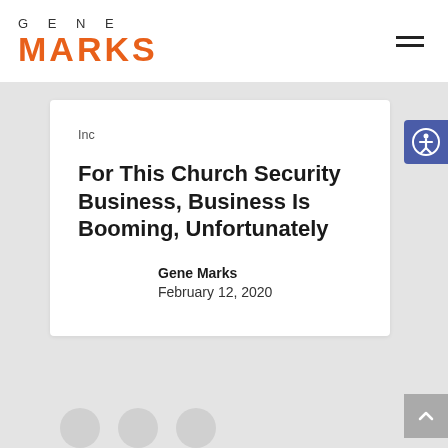GENE MARKS
Inc
For This Church Security Business, Business Is Booming, Unfortunately
Gene Marks
February 12, 2020